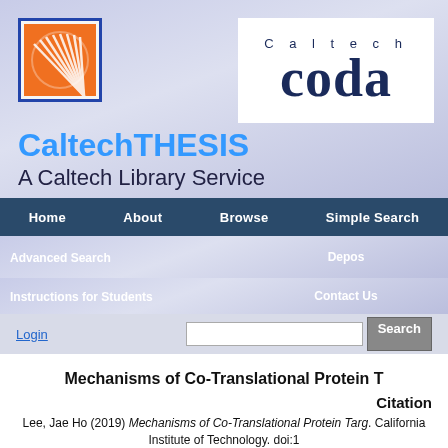[Figure (screenshot): CaltechTHESIS website header with Caltech CODA logo, navigation bars, and search row]
Mechanisms of Co-Translational Protein T
Citation
Lee, Jae Ho (2019) Mechanisms of Co-Translational Protein Targ. California Institute of Technology. doi:1 https://resolver.caltech.edu/CaltechTHESIS
Abstract